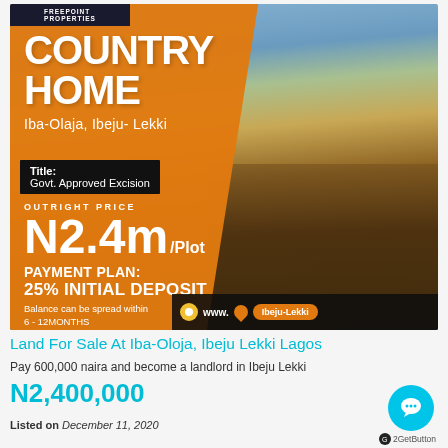[Figure (infographic): Real estate promotional flyer for Country Home land sale at Iba-Olaja, Ibeju-Lekki. Orange and dark background with land/sky photo. Shows title: Govt. Approved Excision, outright price N2.4m/Plot, payment plan 25% initial deposit, balance spread 6-12 months.]
Land For Sale At Iba-Oloja, Ibeju Lekki Lagos
Pay 600,000 naira and become a landlord in Ibeju Lekki
N2,400,000
Listed on December 11, 2020